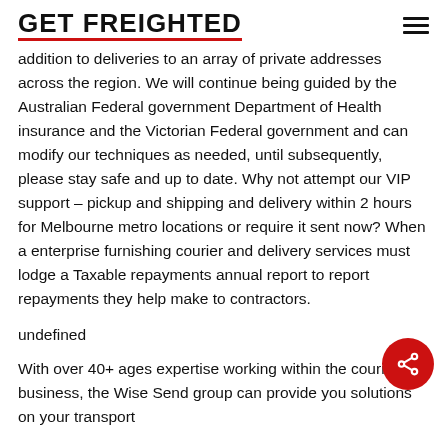GET FREIGHTED
addition to deliveries to an array of private addresses across the region. We will continue being guided by the Australian Federal government Department of Health insurance and the Victorian Federal government and can modify our techniques as needed, until subsequently, please stay safe and up to date. Why not attempt our VIP support – pickup and shipping and delivery within 2 hours for Melbourne metro locations or require it sent now? When a enterprise furnishing courier and delivery services must lodge a Taxable repayments annual report to report repayments they help make to contractors.
undefined
With over 40+ ages expertise working within the courier business, the Wise Send group can provide you solutions on your transport